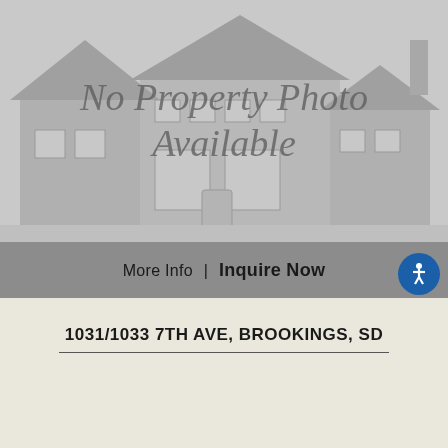[Figure (illustration): Placeholder image showing a faded gray house/building silhouette with the text 'No Property Photo Available' overlaid in italic serif font]
More Info | Inquire Now
1031/1033 7TH AVE, BROOKINGS, SD